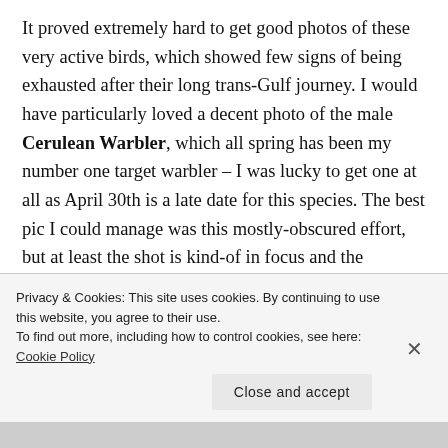It proved extremely hard to get good photos of these very active birds, which showed few signs of being exhausted after their long trans-Gulf journey. I would have particularly loved a decent photo of the male Cerulean Warbler, which all spring has been my number one target warbler – I was lucky to get one at all as April 30th is a late date for this species. The best pic I could manage was this mostly-obscured effort, but at least the shot is kind-of in focus and the beautiful blue color of the upperparts can be seen:
Privacy & Cookies: This site uses cookies. By continuing to use this website, you agree to their use. To find out more, including how to control cookies, see here: Cookie Policy
Close and accept